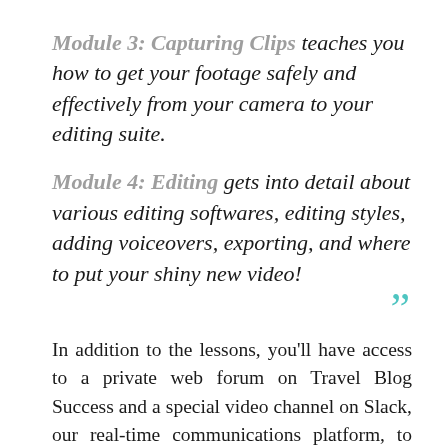Module 3: Capturing Clips teaches you how to get your footage safely and effectively from your camera to your editing suite.
Module 4: Editing gets into detail about various editing softwares, editing styles, adding voiceovers, exporting, and where to put your shiny new video!
In addition to the lessons, you'll have access to a private web forum on Travel Blog Success and a special video channel on Slack, our real-time communications platform, to ask questions and request